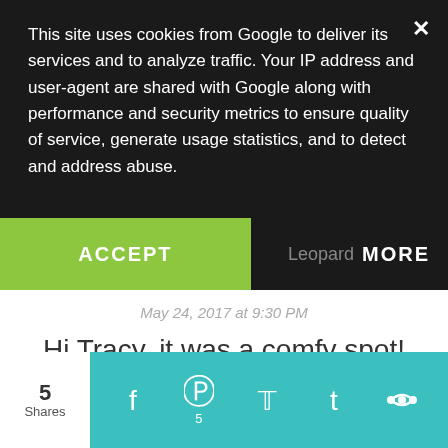This site uses cookies from Google to deliver its services and to analyze traffic. Your IP address and user-agent are shared with Google along with performance and security metrics to ensure quality of service, generate usage statistics, and to detect and address abuse.
ACCEPT
MORE
May 24, 2017 at 9:30 PM
Hi Tracy..it was a comfy spot! Have a great week!
Reply
Diana  May 21, 2017 at 7:11 PM
5 Shares